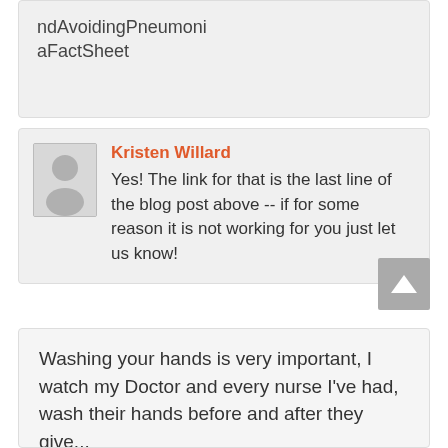ndAvoidingPneumoniaFactSheet
Kristen Willard
Yes! The link for that is the last line of the blog post above -- if for some reason it is not working for you just let us know!
Washing your hands is very important, I watch my Doctor and every nurse I've had, wash their hands before and after they give...